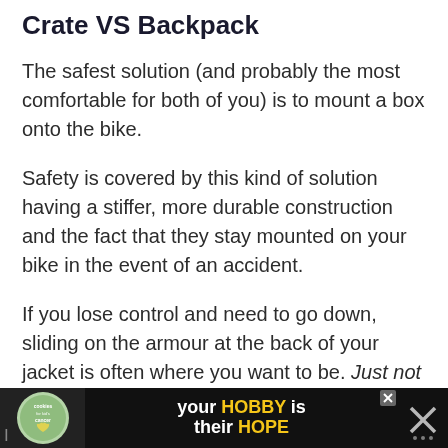Crate VS Backpack
The safest solution (and probably the most comfortable for both of you) is to mount a box onto the bike.
Safety is covered by this kind of solution having a stiffer, more durable construction and the fact that they stay mounted on your bike in the event of an accident.
If you lose control and need to go down, sliding on the armour at the back of your jacket is often where you want to be. Just not if your best friend is strapped there.
[Figure (other): Advertisement banner at the bottom of the page for a 'cookies for kid's cancer' charity with text 'your HOBBY is their HOPE']